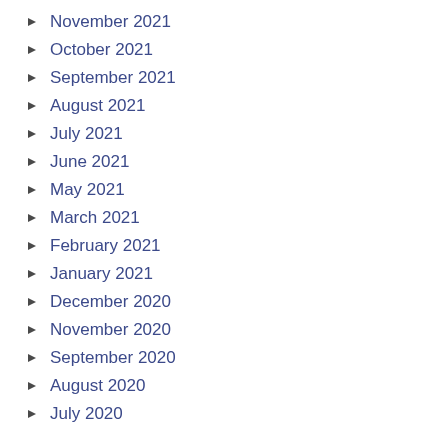November 2021
October 2021
September 2021
August 2021
July 2021
June 2021
May 2021
March 2021
February 2021
January 2021
December 2020
November 2020
September 2020
August 2020
July 2020